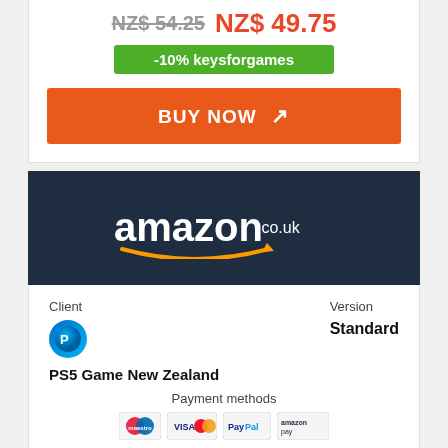NZ$ 54.25 NZ$ 49.75
-10% keysforgames
BUY NOW ↗
[Figure (logo): Amazon.co.uk logo on dark navy background]
Client
PS5 Game New Zealand
Version
Standard
Payment methods
Price
NZ$ 52.65
BUY NOW